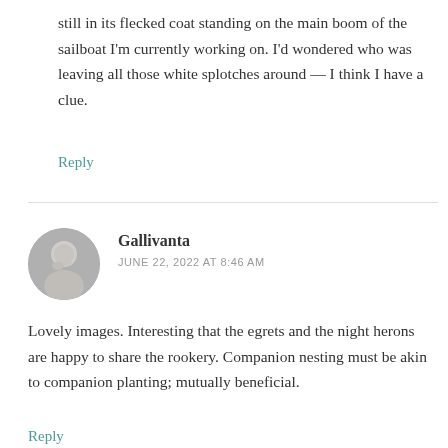still in its flecked coat standing on the main boom of the sailboat I'm currently working on. I'd wondered who was leaving all those white splotches around — I think I have a clue.
Reply
Gallivanta
JUNE 22, 2022 AT 8:46 AM
[Figure (photo): Circular avatar photo of a person (greyscale)]
Lovely images. Interesting that the egrets and the night herons are happy to share the rookery. Companion nesting must be akin to companion planting; mutually beneficial.
Reply